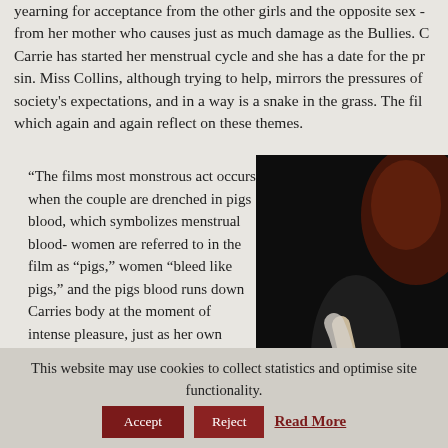yearning for acceptance from the other girls and the opposite sex - from her mother who causes just as much damage as the Bullies. Carrie has started her menstrual cycle and she has a date for the prom sin. Miss Collins, although trying to help, mirrors the pressures of society's expectations, and in a way is a snake in the grass. The film which again and again reflect on these themes.
“The films most monstrous act occurs when the couple are drenched in pigs blood, which symbolizes menstrual blood- women are referred to in the film as “pigs,” women “bleed like pigs,” and the pigs blood runs down Carries body at the moment of intense pleasure, just as her own blood runs down her legs during a similar pleasurable
[Figure (photo): Dark photograph showing a figure, predominantly black background with a person holding what appears to be a knife or implement, possibly a scene from the film Carrie]
This website may use cookies to collect statistics and optimise site functionality.